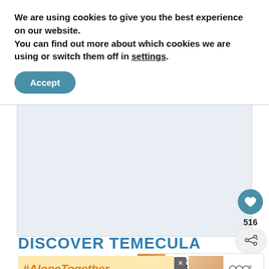We are using cookies to give you the best experience on our website.
You can find out more about which cookies we are using or switch them off in settings.
Accept
[Figure (screenshot): A large light-blue/gray placeholder image area representing a webpage article image, with a heart/like button (516 likes) and a share button on the right side. A 'WHAT'S NEXT' panel with a small food image and '7 Best Temecula...' text appears at bottom right.]
DISCOVER TEMECULA
#AloneTogether